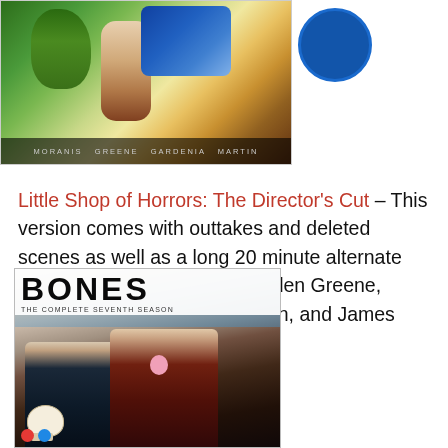[Figure (photo): DVD/Blu-ray cover of Little Shop of Horrors: The Director's Cut, showing a man with a large green carnivorous plant, with a blue disc visible to the right. Cast names at bottom: Moranis, Greene, Gardenia, Martin.]
Little Shop of Horrors: The Director's Cut – This version comes with outtakes and deleted scenes as well as a long 20 minute alternate ending. Stars Rick Moranis, Ellen Greene, Vincent Gardenia, Steve Martin, and James Belushi. Rated PG-13.
[Figure (photo): DVD cover of Bones: The Complete Seventh Season, showing a man in a suit and a woman in a brown top holding a pink flower, with a skull in the foreground. Red and blue network logos at bottom.]